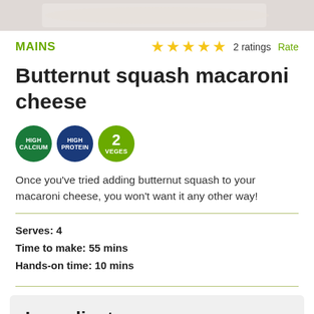[Figure (photo): Partial top photo of butternut squash macaroni cheese dish on a white plate, cropped at top of page]
MAINS
★★★★★ 2 ratings Rate
Butternut squash macaroni cheese
[Figure (infographic): Three circular badges: HIGH CALCIUM (dark green), HIGH PROTEIN (dark blue), 2 VEGES (light green)]
Once you've tried adding butternut squash to your macaroni cheese, you won't want it any other way!
Serves: 4
Time to make: 55 mins
Hands-on time: 10 mins
Ingredients